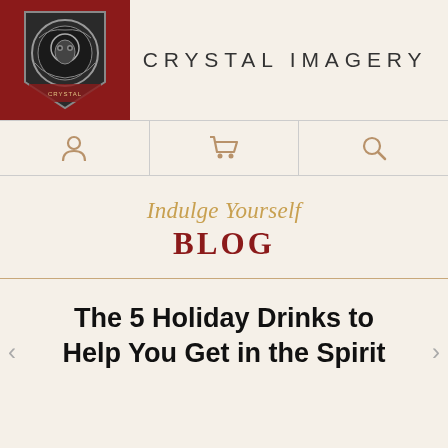[Figure (logo): Crystal Imagery circular badge/shield logo on dark red banner background]
CRYSTAL IMAGERY
[Figure (infographic): Navigation icons bar with person/account icon, shopping cart icon, and search magnifier icon in tan/gold color on cream background]
Indulge Yourself
BLOG
The 5 Holiday Drinks to Help You Get in the Spirit